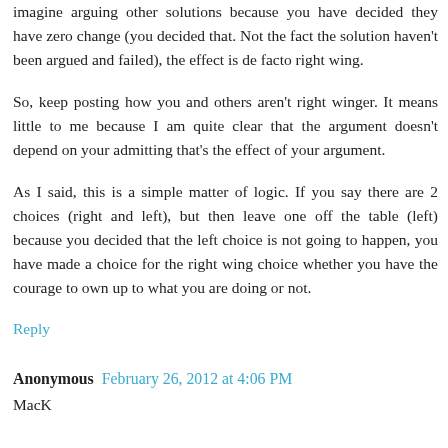imagine arguing other solutions because you have decided they have zero change (you decided that. Not the fact the solution haven't been argued and failed), the effect is de facto right wing.
So, keep posting how you and others aren't right winger. It means little to me because I am quite clear that the argument doesn't depend on your admitting that's the effect of your argument.
As I said, this is a simple matter of logic. If you say there are 2 choices (right and left), but then leave one off the table (left) because you decided that the left choice is not going to happen, you have made a choice for the right wing choice whether you have the courage to own up to what you are doing or not.
Reply
Anonymous February 26, 2012 at 4:06 PM
MacK